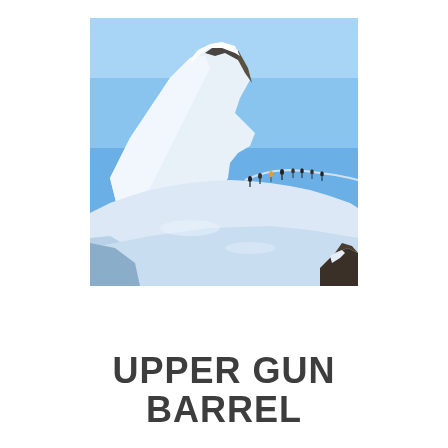[Figure (photo): Outdoor winter mountain scene showing a large snow-covered rocky peak against a clear blue sky. A line of skiers or mountaineers can be seen traversing a snowy ridge in the midground. The foreground shows sweeping snow slopes with deep blue shadows and a small dark rocky outcrop in the lower right.]
UPPER GUN BARREL